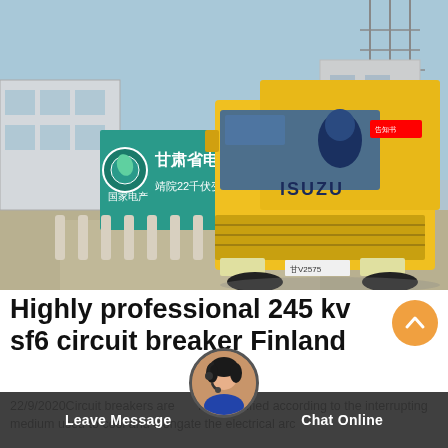[Figure (photo): A yellow Isuzu truck parked in front of a teal/green Chinese electric power company building with signage in Chinese characters (甘肃省电力公司), with white bollards along a road and electrical transmission structures in background.]
Highly professional 245 kv sf6 circuit breaker Finland
22/9/2020Circuit breakers are mainly classified according to the interrupting medium used to cool and elongate the electrical arc